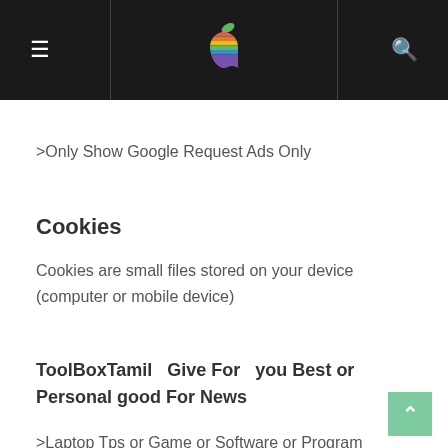ToolBoxTamil navigation header with Apple logo
>Only Show Google Request Ads Only
Cookies
Cookies are small files stored on your device (computer or mobile device)
ToolBoxTamil  Give For  you Best or Personal good For News
>Laptop Tps or Game or Software or Program